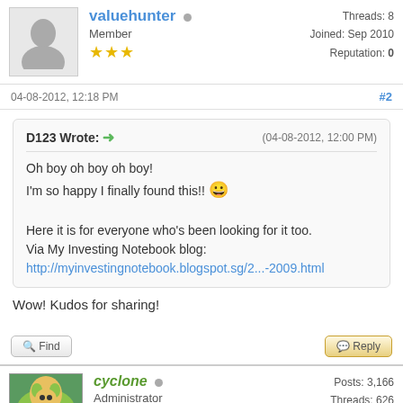valuehunter | Member | Threads: 8, Joined: Sep 2010, Reputation: 0
04-08-2012, 12:18 PM  #2
D123 Wrote: (04-08-2012, 12:00 PM)
Oh boy oh boy oh boy!
I'm so happy I finally found this!!
Here it is for everyone who's been looking for it too.
Via My Investing Notebook blog:
http://myinvestingnotebook.blogspot.sg/2...-2009.html
Wow! Kudos for sharing!
Find   Reply
cyclone | Administrator | Posts: 3,166, Threads: 626, Joined: Sep 2010